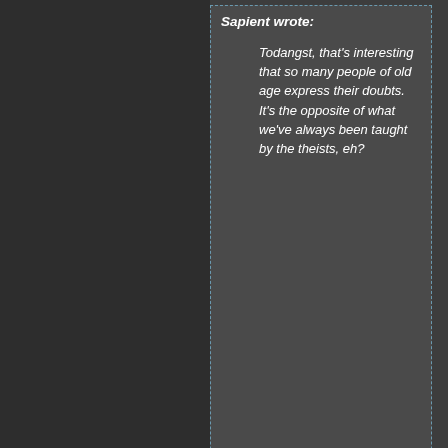Sapient wrote:
Todangst, that's interesting that so many people of old age express their doubts.  It's the opposite of what we've always been taught by the theists, eh?
Yes! And there is even some awareness of that expectation as some of them approach confessing their doubts with an apology.
Again, as I am a middle aged white male the expectation is that I am theist. Who knows how many more would be open about their doubts if they were free to assume otherwise?